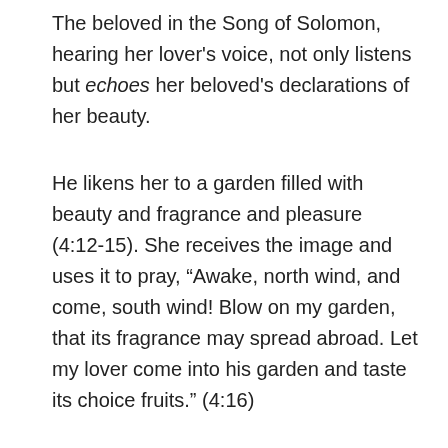The beloved in the Song of Solomon, hearing her lover's voice, not only listens but echoes her beloved's declarations of her beauty.
He likens her to a garden filled with beauty and fragrance and pleasure (4:12-15). She receives the image and uses it to pray, “Awake, north wind, and come, south wind! Blow on my garden, that its fragrance may spread abroad. Let my lover come into his garden and taste its choice fruits.” (4:16)
He tells her her mouth is like the best wine (7:9). She doesn’t draw back with an embarrassed, “Oh, darling!” She doesn’t assume he can’t really mean what he all the while thinking of her less-than-sweet-sme morning breath. She receives it – and speaks it back to